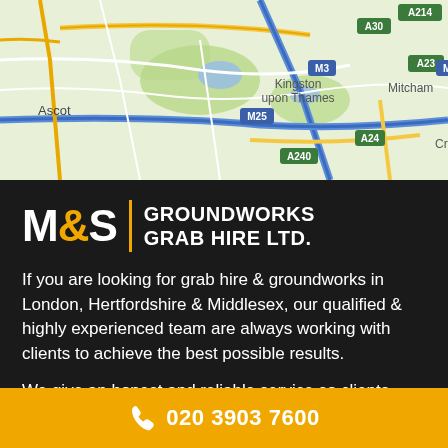[Figure (map): Google Maps screenshot showing area around Kingston upon Thames, London with roads A214, A23, A30, M3, M25, A240, A24 marked, showing Ascot, Mitcham, Croydon areas]
M&S GROUNDWORKS GRAB HIRE LTD.
If you are looking for grab hire & groundworks in London, Hertfordshire & Middlesex, our qualified & highly experienced team are always working with clients to achieve the best possible results.
We give an honest and reliable service so clients
020 3903 7600